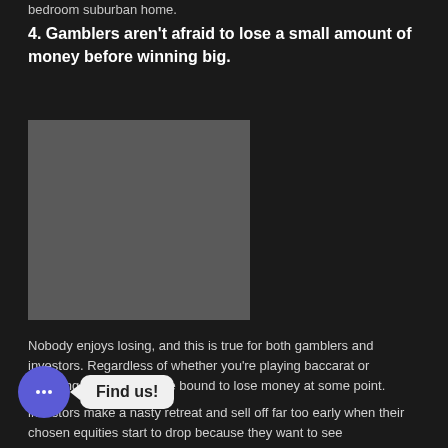bedroom suburban home.
4. Gamblers aren't afraid to lose a small amount of money before winning big.
[Figure (photo): A gray placeholder image block, approximately square, positioned to the left side of the page.]
Nobody enjoys losing, and this is true for both gamblers and investors. Regardless of whether you're playing baccarat or investing in stocks, you're bound to lose money at some point.
investors make a hasty retreat and sell off far too early when their chosen equities start to drop because they want to see